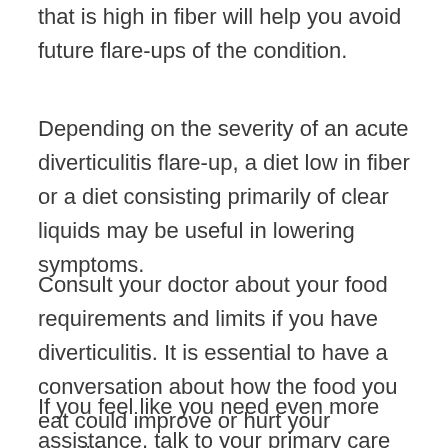that is high in fiber will help you avoid future flare-ups of the condition.
Depending on the severity of an acute diverticulitis flare-up, a diet low in fiber or a diet consisting primarily of clear liquids may be useful in lowering symptoms.
Consult your doctor about your food requirements and limits if you have diverticulitis. It is essential to have a conversation about how the food you eat could improve or hurt your condition.
If you feel like you need even more assistance, talk to your primary care physician about getting referred to a dietitian. Try to locate a healthcare provider who